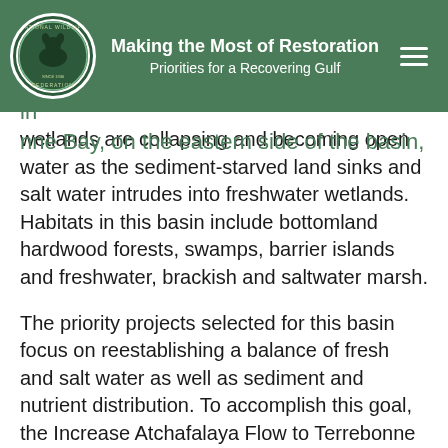Making the Most of Restoration
Priorities for a Recovering Gulf
wetlands are collapsing and becoming open water as the sediment-starved land sinks and salt water intrudes into freshwater wetlands. Habitats in this basin include bottomland hardwood forests, swamps, barrier islands and freshwater, brackish and saltwater marsh.
The priority projects selected for this basin focus on reestablishing a balance of fresh and salt water as well as sediment and nutrient distribution. To accomplish this goal, the Increase Atchafalaya Flow to Terrebonne Diversion project will take advantage of the Atchafalaya River and the Intracoastal Waterway to move fresh water and sediment eastward. This project will work in conjunction with the Houma Navigational Canal Lock, a successful 2012 priority project that is moving toward